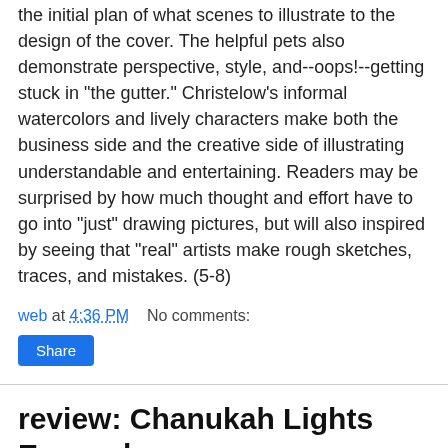the initial plan of what scenes to illustrate to the design of the cover. The helpful pets also demonstrate perspective, style, and--oops!--getting stuck in "the gutter." Christelow's informal watercolors and lively characters make both the business side and the creative side of illustrating understandable and entertaining. Readers may be surprised by how much thought and effort have to go into "just" drawing pictures, but will also inspired by seeing that "real" artists make rough sketches, traces, and mistakes. (5-8)
web at 4:36 PM    No comments:
Share
review: Chanukah Lights Everywhere
Chanukah Lights Everywhere by Michael J. Rosen. Illustrated by Melissa Iwai, 2001; Voyager, 2006 (0-15-